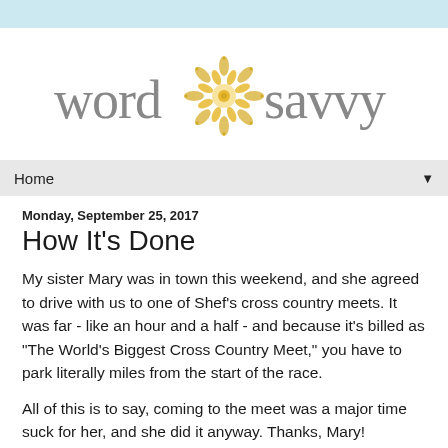[Figure (logo): Word Savvy logo: the words 'word' and 'savvy' in grey lowercase serif-style letters flanking a decorative golden mandala/flower ornament in the center]
Home ▼
Monday, September 25, 2017
How It's Done
My sister Mary was in town this weekend, and she agreed to drive with us to one of Shef's cross country meets. It was far - like an hour and a half - and because it's billed as "The World's Biggest Cross Country Meet," you have to park literally miles from the start of the race.
All of this is to say, coming to the meet was a major time suck for her, and she did it anyway. Thanks, Mary!